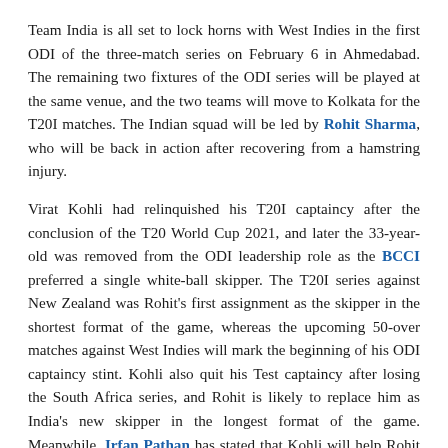Team India is all set to lock horns with West Indies in the first ODI of the three-match series on February 6 in Ahmedabad. The remaining two fixtures of the ODI series will be played at the same venue, and the two teams will move to Kolkata for the T20I matches. The Indian squad will be led by Rohit Sharma, who will be back in action after recovering from a hamstring injury.
Virat Kohli had relinquished his T20I captaincy after the conclusion of the T20 World Cup 2021, and later the 33-year-old was removed from the ODI leadership role as the BCCI preferred a single white-ball skipper. The T20I series against New Zealand was Rohit's first assignment as the skipper in the shortest format of the game, whereas the upcoming 50-over matches against West Indies will mark the beginning of his ODI captaincy stint. Kohli also quit his Test captaincy after losing the South Africa series, and Rohit is likely to replace him as India's new skipper in the longest format of the game. Meanwhile, Irfan Pathan has stated that Kohli will help Rohit to do the right thing. The former all-rounder further added that Kohli may not be the captain, but as long as he is in the team, the right-hand batsman will be a leader.